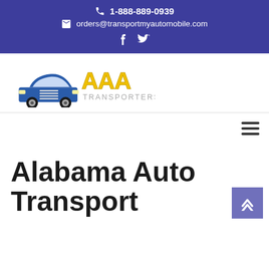1-888-889-0939 | orders@transportmyautomobile.com
[Figure (logo): AAA Transporters logo with blue car graphic and yellow AAA text]
Alabama Auto Transport